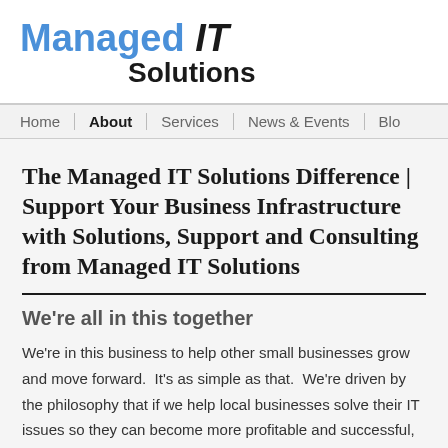Managed IT Solutions
Home | About | Services | News & Events | Blo
The Managed IT Solutions Difference | Support Your Business Infrastructure with Solutions, Support and Consulting from Managed IT Solutions
We're all in this together
We're in this business to help other small businesses grow and move forward.  It's as simple as that.  We're driven by the philosophy that if we help local businesses solve their IT issues so they can become more profitable and successful, then we will inherently grow along with them.  There is no